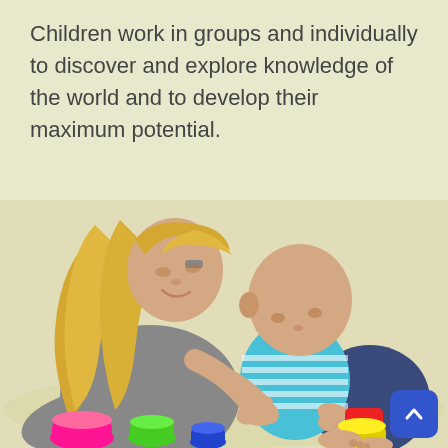Children work in groups and individually to discover and explore knowledge of the world and to develop their maximum potential.
[Figure (photo): A young blonde woman leaning over and helping a baby in a blue striped shirt play with colorful stacking cups and blocks on a light background. Colorful toys (pink, green, blue, yellow cups) are visible in the foreground.]